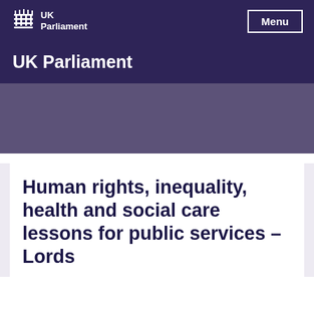UK Parliament
UK Parliament
Human rights, inequality, health and social care lessons for public services – Lords